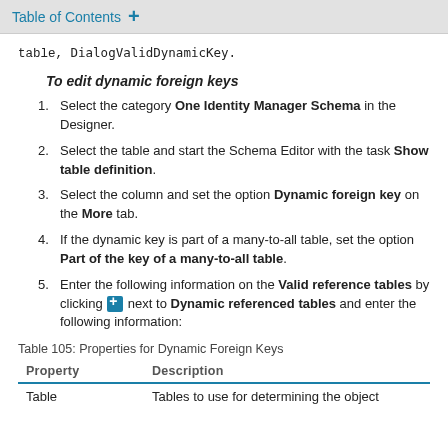Table of Contents +
table, DialogValidDynamicKey.
To edit dynamic foreign keys
Select the category One Identity Manager Schema in the Designer.
Select the table and start the Schema Editor with the task Show table definition.
Select the column and set the option Dynamic foreign key on the More tab.
If the dynamic key is part of a many-to-all table, set the option Part of the key of a many-to-all table.
Enter the following information on the Valid reference tables by clicking [icon] next to Dynamic referenced tables and enter the following information:
Table 105: Properties for Dynamic Foreign Keys
| Property | Description |
| --- | --- |
| Table | Tables to use for determining the object |